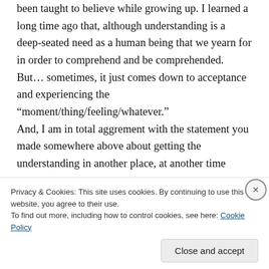been taught to believe while growing up. I learned a long time ago that, although understanding is a deep-seated need as a human being that we yearn for in order to comprehend and be comprehended. But… sometimes, it just comes down to acceptance and experiencing the “moment/thing/feeling/whatever.”
And, I am in total aggrement with the statement you made somewhere above about getting the understanding in another place, at another time
Privacy & Cookies: This site uses cookies. By continuing to use this website, you agree to their use.
To find out more, including how to control cookies, see here: Cookie Policy